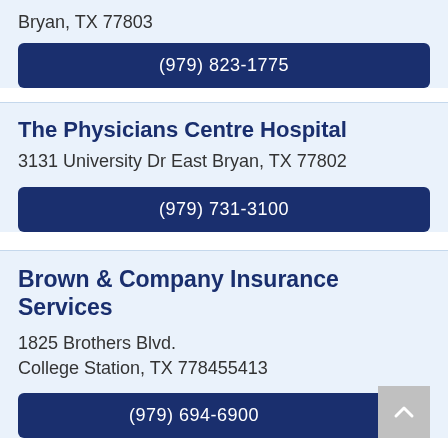Bryan, TX 77803
(979) 823-1775
The Physicians Centre Hospital
3131 University Dr East Bryan, TX 77802
(979) 731-3100
Brown & Company Insurance Services
1825 Brothers Blvd.
College Station, TX 778455413
(979) 694-6900